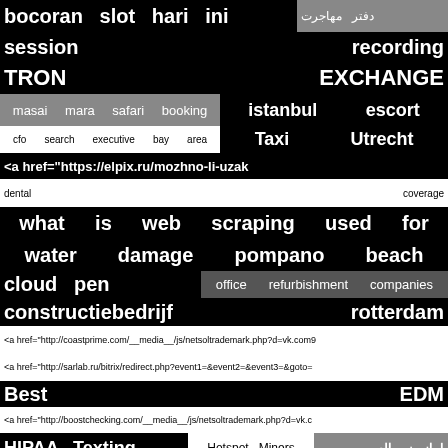bocoran slot hari ini | دفتر مهاجرت
session recording
TRON EXCHANGE
masai mara safari booking | istanbul escort
cfo search executive bay area | Taxi Utrecht
<a href="https://elpix.ru/mozhno-li-uzak
dental coverage
what is web scraping used for
water damage pompano beach
cloud pen | office refurbishment companies
constructiebedrijf rotterdam
<a href="http://coastprime.com/__media__/js/netsoltrademark.php?d=vk.com9
<a href="http://sarlab.ru/bitrix/redirect.php?event1=&event2=&event3=&goto=
Best EDM
<a href="http://boostchecking.com/__media__/js/netsoltrademark.php?d=vk.c
HIPAA Texting | Hotspot Miners | امازون بالعربي
nose jobs | West Dundee IL 60118 local SEO | screen repair
solar panel | share | smart contracts
Bimi record | موقع | payeer